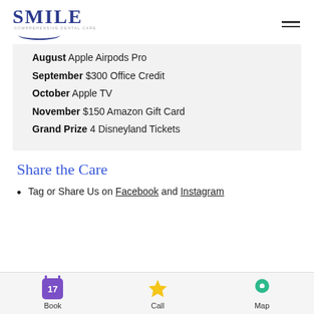SMILE — Comprehensive Dental Care (logo + hamburger menu)
August Apple Airpods Pro
September $300 Office Credit
October Apple TV
November $150 Amazon Gift Card
Grand Prize 4 Disneyland Tickets
Share the Care
Tag or Share Us on Facebook and Instagram
Book | Call | Map